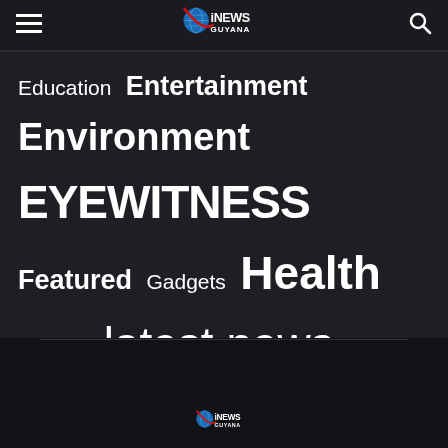iNews Guyana — navigation header with hamburger menu, logo, and search icon
Education  Entertainment  Environment  EYEWITNESS  Featured  Gadgets  Health  Internet  latest news  Letters  Local News  Mining  Oil & Gas  Opinion  Other Stories  Politics  Regional  slider Stories  Sports  Technology  The Piper  Tourism  Uncategorized  World